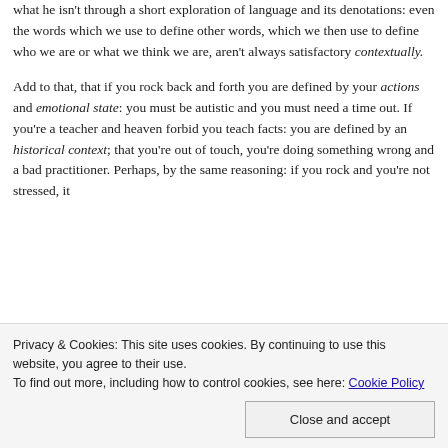what he isn't through a short exploration of language and its denotations: even the words which we use to define other words, which we then use to define who we are or what we think we are, aren't always satisfactory contextually.

Add to that, that if you rock back and forth you are defined by your actions and emotional state: you must be autistic and you must need a time out. If you're a teacher and heaven forbid you teach facts: you are defined by an historical context; that you're out of touch, you're doing something wrong and a bad practitioner. Perhaps, by the same reasoning: if you rock and you're not stressed, it
Privacy & Cookies: This site uses cookies. By continuing to use this website, you agree to their use.
To find out more, including how to control cookies, see here: Cookie Policy